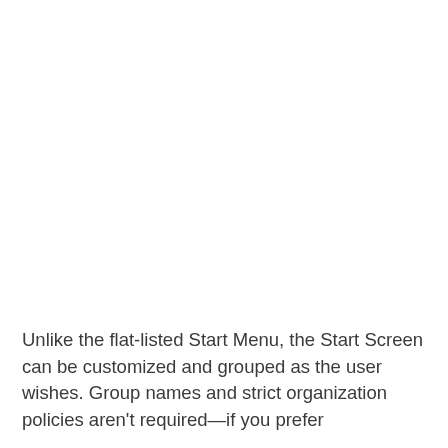Unlike the flat-listed Start Menu, the Start Screen can be customized and grouped as the user wishes. Group names and strict organization policies aren't required—if you prefer